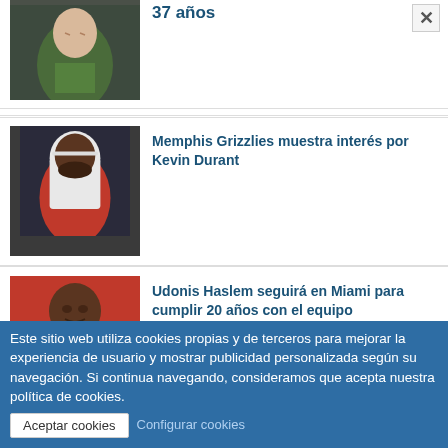[Figure (photo): Basketball player in green/yellow jersey, partial view at top of page]
37 años
[Figure (photo): Basketball player with white towel over head]
Memphis Grizzlies muestra interés por Kevin Durant
[Figure (photo): Basketball player in red jersey, partially visible at bottom]
Udonis Haslem seguirá en Miami para cumplir 20 años con el equipo
Este sitio web utiliza cookies propias y de terceros para mejorar la experiencia de usuario y mostrar publicidad personalizada según su navegación. Si continua navegando, consideramos que acepta nuestra política de cookies.